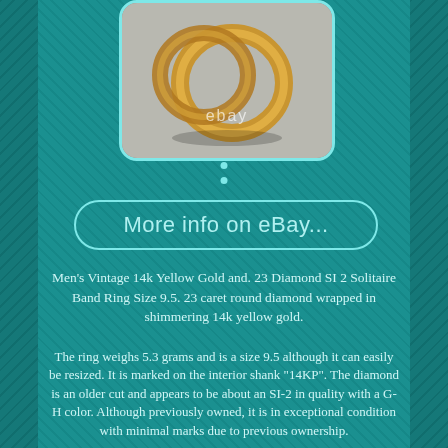[Figure (photo): Photo of men's vintage gold ring(s) on a gray surface, with 'ebay' watermark text overlaid]
[Figure (other): Three dots navigation indicator]
More info on eBay...
Men's Vintage 14k Yellow Gold and. 23 Diamond SI 2 Solitaire Band Ring Size 9.5. 23 caret round diamond wrapped in shimmering 14k yellow gold.
The ring weighs 5.3 grams and is a size 9.5 although it can easily be resized. It is marked on the interior shank "14KP". The diamond is an older cut and appears to be about an SI-2 in quality with a G-H color. Although previously owned, it is in exceptional condition with minimal marks due to previous ownership.
Please review all the pictures as they represent far more accurately the items condition than any verbal description that I can provide. Asking questions will